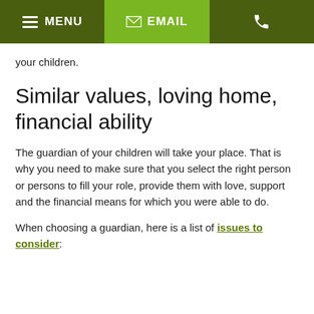MENU | EMAIL | [phone icon]
your children.
Similar values, loving home, financial ability
The guardian of your children will take your place. That is why you need to make sure that you select the right person or persons to fill your role, provide them with love, support and the financial means for which you were able to do.
When choosing a guardian, here is a list of issues to consider: